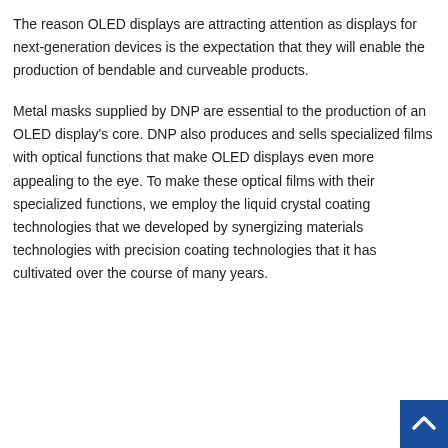The reason OLED displays are attracting attention as displays for next-generation devices is the expectation that they will enable the production of bendable and curveable products.
Metal masks supplied by DNP are essential to the production of an OLED display's core. DNP also produces and sells specialized films with optical functions that make OLED displays even more appealing to the eye. To make these optical films with their specialized functions, we employ the liquid crystal coating technologies that we developed by synergizing materials technologies with precision coating technologies that it has cultivated over the course of many years.
[Figure (other): Back-to-top navigation button: a dark blue square with a white upward-pointing chevron/caret arrow, positioned at the bottom-right corner of the page.]